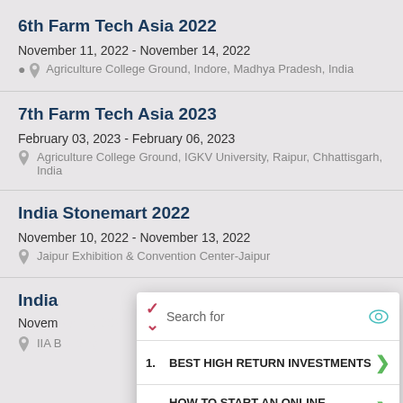6th Farm Tech Asia 2022
November 11, 2022 - November 14, 2022
Agriculture College Ground, Indore, Madhya Pradesh, India
7th Farm Tech Asia 2023
February 03, 2023 - February 06, 2023
Agriculture College Ground, IGKV University, Raipur, Chhattisgarh, India
India Stonemart 2022
November 10, 2022 - November 13, 2022
Jaipur Exhibition & Convention Center-Jaipur
India Expo 2022
November...
IIA B...
[Figure (screenshot): Overlay popup with search bar showing 'Search for' with an eye icon, followed by two sponsored list items: 1. BEST HIGH RETURN INVESTMENTS with a green arrow, 2. HOW TO START AN ONLINE BUSINESS with a green arrow, and an Ad label with Business Focus text at the bottom.]